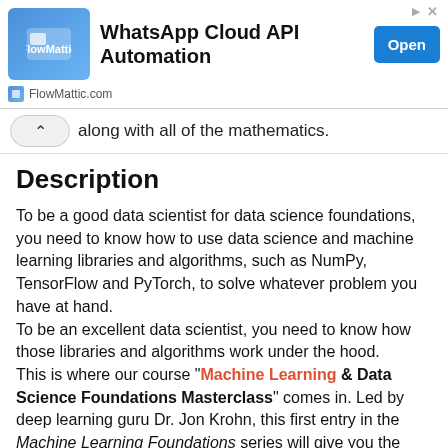[Figure (other): FlowMattic advertisement banner for WhatsApp Cloud API Automation with Open button]
along with all of the mathematics.
Description
To be a good data scientist for data science foundations, you need to know how to use data science and machine learning libraries and algorithms, such as NumPy, TensorFlow and PyTorch, to solve whatever problem you have at hand.
To be an excellent data scientist, you need to know how those libraries and algorithms work under the hood.
This is where our course "Machine Learning & Data Science Foundations Masterclass" comes in. Led by deep learning guru Dr. Jon Krohn, this first entry in the Machine Learning Foundations series will give you the basics of the mathematics such as linear algebra, matrices and tensor